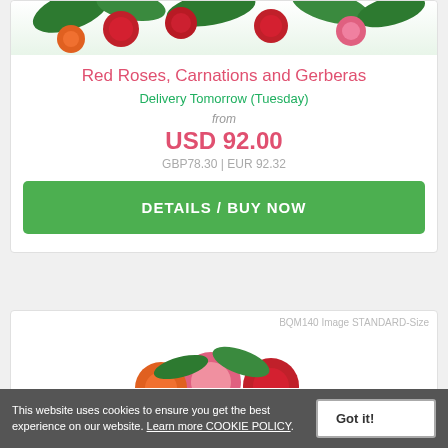[Figure (photo): Flower arrangement photo at top of card - Red Roses, Carnations and Gerberas]
Red Roses, Carnations and Gerberas
Delivery Tomorrow (Tuesday)
from
USD 92.00
GBP78.30 | EUR 92.32
DETAILS / BUY NOW
[Figure (photo): BQM140 Image STANDARD-Size - flower arrangement photo]
BQM140 Image STANDARD-Size
This website uses cookies to ensure you get the best experience on our website. Learn more COOKIE POLICY.
Got it!